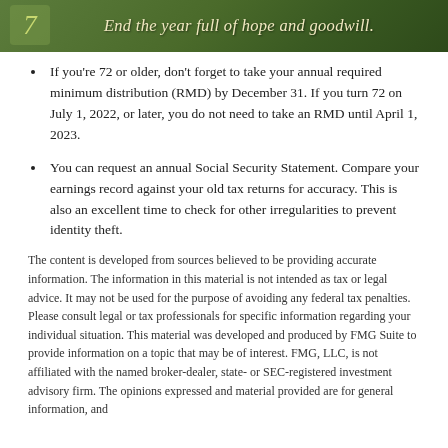[Figure (illustration): Green banner with cursive/italic text reading 'End the year full of hope and goodwill.' with a decorative icon on the left]
If you're 72 or older, don't forget to take your annual required minimum distribution (RMD) by December 31. If you turn 72 on July 1, 2022, or later, you do not need to take an RMD until April 1, 2023.
You can request an annual Social Security Statement. Compare your earnings record against your old tax returns for accuracy. This is also an excellent time to check for other irregularities to prevent identity theft.
The content is developed from sources believed to be providing accurate information. The information in this material is not intended as tax or legal advice. It may not be used for the purpose of avoiding any federal tax penalties. Please consult legal or tax professionals for specific information regarding your individual situation. This material was developed and produced by FMG Suite to provide information on a topic that may be of interest. FMG, LLC, is not affiliated with the named broker-dealer, state- or SEC-registered investment advisory firm. The opinions expressed and material provided are for general information, and